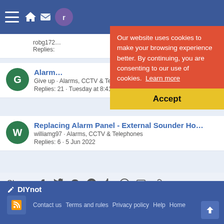DIYnot forum header navigation
Alarm [title truncated] · Give up · Alarms, CCTV & Telephones · Replies: 21 · Tuesday at 8:41 PM
Replacing Alarm Panel - External Sounder Hold Off · williamg97 · Alarms, CCTV & Telephones · Replies: 6 · 5 Jun 2022
[Figure (screenshot): Cookie consent banner overlay: 'Our website uses cookies to make your browsing experience better. By continuing, you are consenting to our use of cookies. Learn more' with Accept button]
Share: [Facebook] [Twitter] [Reddit] [Pinterest] [Tumblr] [WhatsApp] [Email] [Link]
< Alarms, CCTV & Telephones
DIYnot · Contact us · Terms and rules · Privacy policy · Help · Home